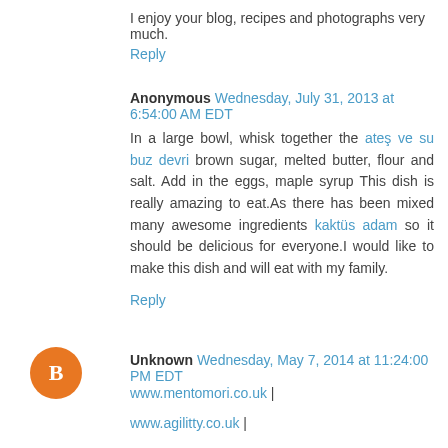I enjoy your blog, recipes and photographs very much.
Reply
Anonymous Wednesday, July 31, 2013 at 6:54:00 AM EDT
In a large bowl, whisk together the ateş ve su buz devri brown sugar, melted butter, flour and salt. Add in the eggs, maple syrup This dish is really amazing to eat.As there has been mixed many awesome ingredients kaktüs adam so it should be delicious for everyone.I would like to make this dish and will eat with my family.
Reply
Unknown Wednesday, May 7, 2014 at 11:24:00 PM EDT
www.mentomori.co.uk |
www.agilitty.co.uk |